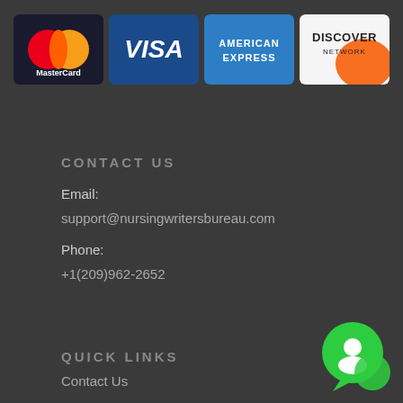[Figure (logo): Four payment method logos: MasterCard, VISA, American Express, Discover Network]
CONTACT US
Email:
support@nursingwritersbureau.com
Phone:
+1(209)962-2652
QUICK LINKS
Contact Us
[Figure (illustration): Green chat bubble / messaging icon in bottom right corner]